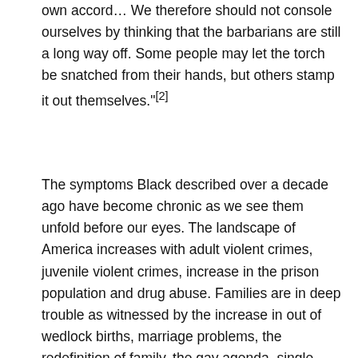own accord… We therefore should not console ourselves by thinking that the barbarians are still a long way off. Some people may let the torch be snatched from their hands, but others stamp it out themselves."[2]
The symptoms Black described over a decade ago have become chronic as we see them unfold before our eyes. The landscape of America increases with adult violent crimes, juvenile violent crimes, increase in the prison population and drug abuse. Families are in deep trouble as witnessed by the increase in out of wedlock births, marriage problems, the redefinition of family, the gay agenda, single parent families, cohabitation, divorce, welfare and abortion. We also see a failure of the public school system. There is an increase of problems in youth behavior, out-of-wedlock teenage births, teenage abortion, teenage suicide and teenage drug and alcohol abuse. Everyday more and more Americans become depressed and lack purpose in their lives. The list of ills is much longer than the ones mentioned here. We know